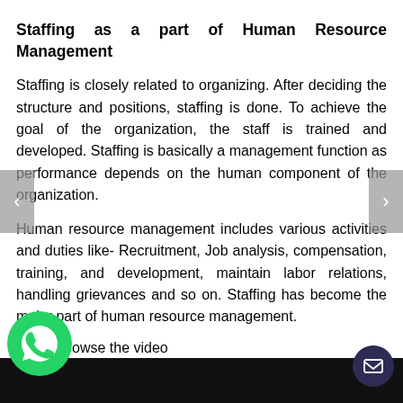Staffing as a part of Human Resource Management
Staffing is closely related to organizing. After deciding the structure and positions, staffing is done. To achieve the goal of the organization, the staff is trained and developed. Staffing is basically a management function as performance depends on the human component of the organization.
Human resource management includes various activities and duties like- Recruitment, Job analysis, compensation, training, and development, maintain labor relations, handling grievances and so on. Staffing has become the major part of human resource management.
Browse the video